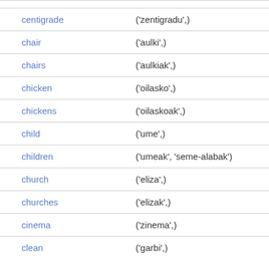| word | translation |
| --- | --- |
| centigrade | ('zentigradu',) |
| chair | ('aulki',) |
| chairs | ('aulkiak',) |
| chicken | ('oilasko',) |
| chickens | ('oilaskoak',) |
| child | ('ume',) |
| children | ('umeak', 'seme-alabak') |
| church | ('eliza',) |
| churches | ('elizak',) |
| cinema | ('zinema',) |
| clean | ('garbi',) |